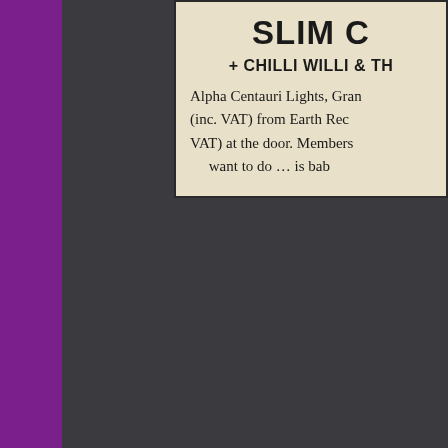[Figure (other): Partial newspaper/magazine advertisement clipping on cream paper. Top ad shows bold headline 'SLIM C' (cut off), subtitle '+ CHILLI WILLI & TH' (cut off), body text about Alpha Centauri Lights, Gran..., (inc. VAT) from Earth Rec..., VAT) at the door. Members... want to do ... is bab...]
[Figure (other): Second partial advertisement clipping on cream paper. Large italic bold heading 'Fri' (cut off). Body text: 'Appearing... Aylesbury,... is RONNI... PASSING...']